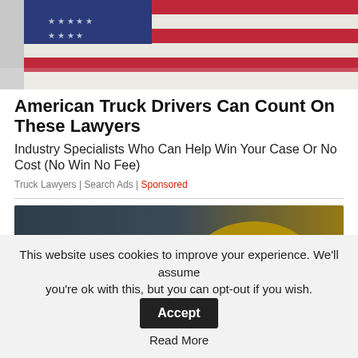[Figure (photo): American flag close-up with red, white, and blue colors]
American Truck Drivers Can Count On These Lawyers
Industry Specialists Who Can Help Win Your Case Or No Cost (No Win No Fee)
Truck Lawyers | Search Ads | Sponsored
[Figure (photo): Employment Lawyers Standing By - image with gavel and construction worker in yellow hard hat with overlay text]
This website uses cookies to improve your experience. We'll assume you're ok with this, but you can opt-out if you wish. Accept Read More